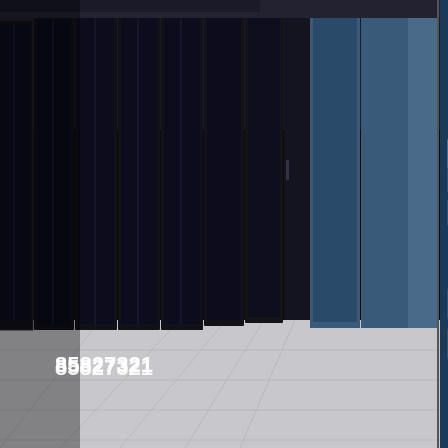[Figure (photo): Data center server room showing two views side by side: left side shows a row of tall black server racks with glass doors along a raised tile floor corridor, right side shows a close-up of a network rack with patch panels, cable management, and networking equipment inside a blue server cabinet frame. A watermark number '85827321' appears in white in the lower left area of the left image.]
85827321